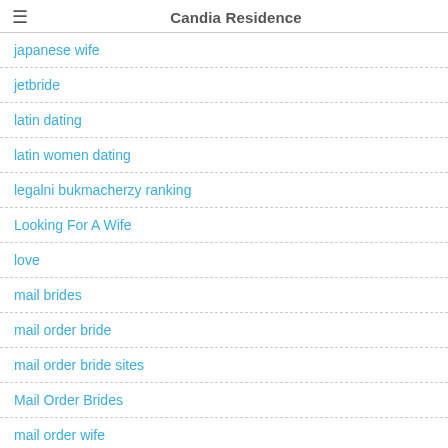Candia Residence
japanese wife
jetbride
latin dating
latin women dating
legalni bukmacherzy ranking
Looking For A Wife
love
mail brides
mail order bride
mail order bride sites
Mail Order Brides
mail order wife